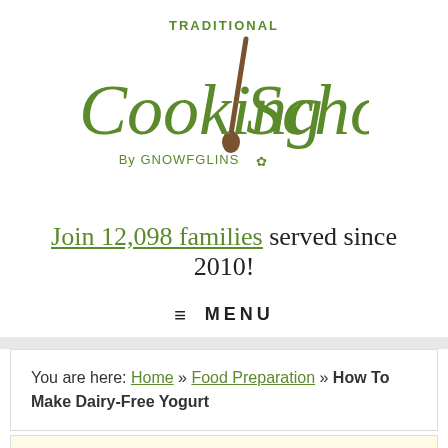[Figure (logo): Traditional Cooking School by GNOWFGLINS logo with green script text and a brown spoon]
Join 12,098 families served since 2010!
≡ MENU
You are here: Home » Food Preparation » How To Make Dairy-Free Yogurt
Want our free no-knead sourdough bread recipe? Click here to download it for FREE!